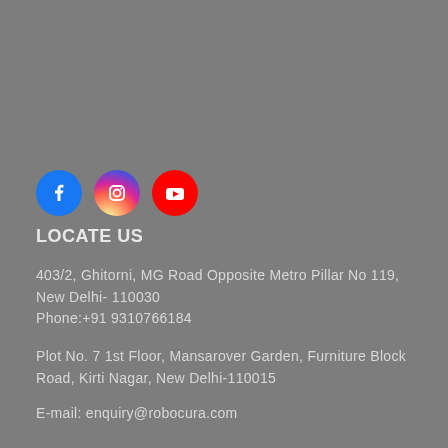[Figure (illustration): Three social media icons in circles: Facebook (blue), Instagram (pink/magenta), YouTube (red)]
LOCATE US
403/2, Ghitorni, MG Road Opposite Metro Pillar No 119, New Delhi- 110030
Phone:+91 9310766184
Plot No. 7 1st Floor, Mansarover Garden, Furniture Block Road, Kirti Nagar, New Delhi-110015
E-mail: enquiry@robocura.com